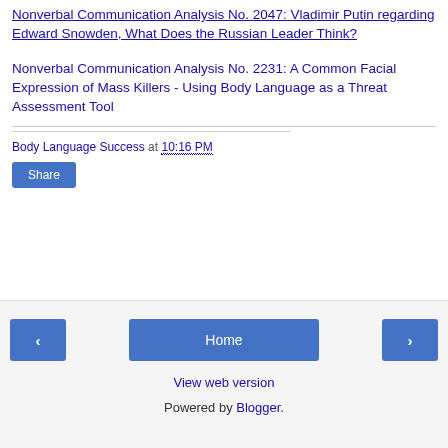Nonverbal Communication Analysis No. 2047: Vladimir Putin regarding Edward Snowden, What Does the Russian Leader Think?
Nonverbal Communication Analysis No. 2231: A Common Facial Expression of Mass Killers - Using Body Language as a Threat Assessment Tool
Body Language Success at 10:16 PM
Share
Home | View web version | Powered by Blogger.